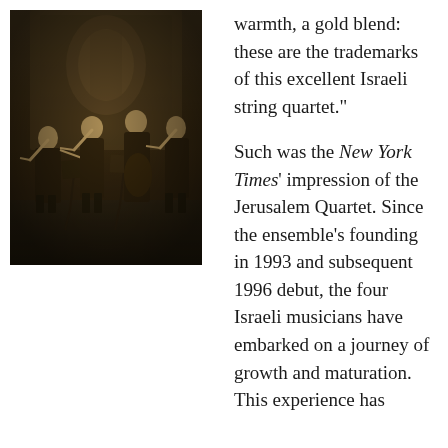[Figure (photo): A sepia-toned photograph of four musicians (the Jerusalem Quartet) performing as a string quartet on stage, seated in front of ornate wooden paneling, with music stands in front of them.]
warmth, a gold blend: these are the trademarks of this excellent Israeli string quartet."

Such was the New York Times' impression of the Jerusalem Quartet. Since the ensemble's founding in 1993 and subsequent 1996 debut, the four Israeli musicians have embarked on a journey of growth and maturation. This experience has